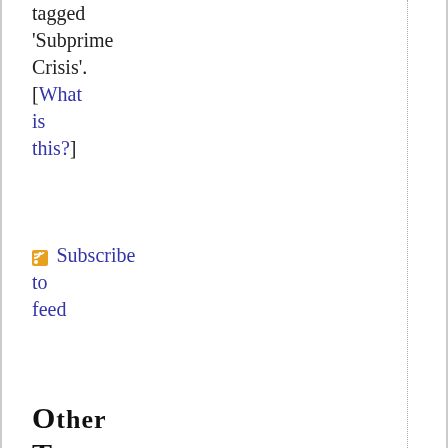tagged 'Subprime Crisis'. [What is this?]
Subscribe to feed
Other Tags
Other tags used on this blog:
#icantbreathe (1)
$300000 Watch